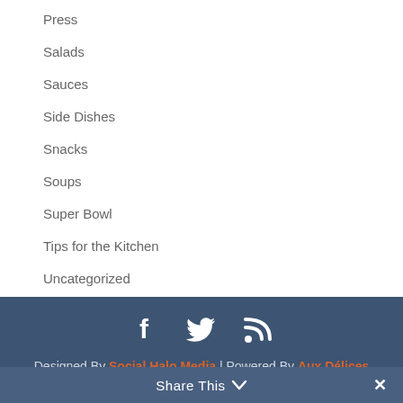Press
Salads
Sauces
Side Dishes
Snacks
Soups
Super Bowl
Tips for the Kitchen
Uncategorized
Designed By Social Halo Media | Powered By Aux Délices
Share This ∨  ✕